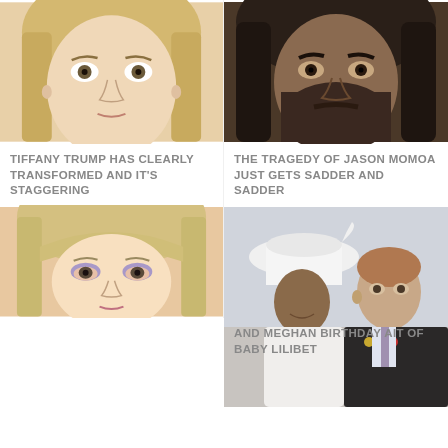[Figure (photo): Close-up photo of Tiffany Trump, young woman with blonde hair and wide eyes]
TIFFANY TRUMP HAS CLEARLY TRANSFORMED AND IT'S STAGGERING
[Figure (photo): Close-up photo of Jason Momoa with dark beard and intense gaze]
THE TRAGEDY OF JASON MOMOA JUST GETS SADDER AND SADDER
[Figure (photo): Close-up photo of older blonde female celebrity with blue eyes and eyeshadow]
[Figure (photo): Photo of Meghan Markle and Prince Harry in formal attire, Meghan wearing white hat, Harry with military medals]
AND MEGHAN BIRTHDAY AIT OF BABY LILIBET